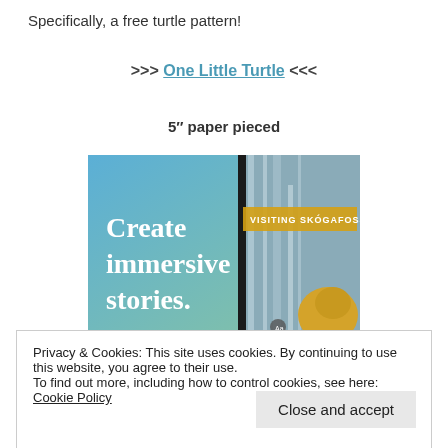Specifically, a free turtle pattern!
>>> One Little Turtle <<<
5″ paper pieced
[Figure (screenshot): Advertisement image with blue gradient background showing text 'Create immersive stories.' on the left, and a waterfall photo on the right with a banner reading 'VISITING SKOGAFOSS']
Privacy & Cookies: This site uses cookies. By continuing to use this website, you agree to their use.
To find out more, including how to control cookies, see here: Cookie Policy
Close and accept